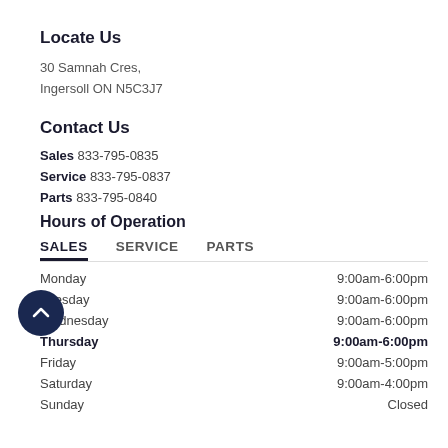Locate Us
30 Samnah Cres,
Ingersoll ON N5C3J7
Contact Us
Sales 833-795-0835
Service 833-795-0837
Parts 833-795-0840
Hours of Operation
SALES   SERVICE   PARTS
| Day | Hours |
| --- | --- |
| Monday | 9:00am-6:00pm |
| Tuesday | 9:00am-6:00pm |
| Wednesday | 9:00am-6:00pm |
| Thursday | 9:00am-6:00pm |
| Friday | 9:00am-5:00pm |
| Saturday | 9:00am-4:00pm |
| Sunday | Closed |